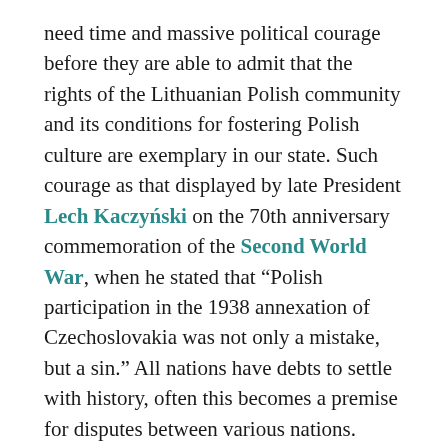need time and massive political courage before they are able to admit that the rights of the Lithuanian Polish community and its conditions for fostering Polish culture are exemplary in our state. Such courage as that displayed by late President Lech Kaczyński on the 70th anniversary commemoration of the Second World War, when he stated that “Polish participation in the 1938 annexation of Czechoslovakia was not only a mistake, but a sin.” All nations have debts to settle with history, often this becomes a premise for disputes between various nations. Nevertheless real leadership begins from closing such account in a way where the harmed party feels an earnest wish to come to terms.
Unfortunately over a series of years Kremlin